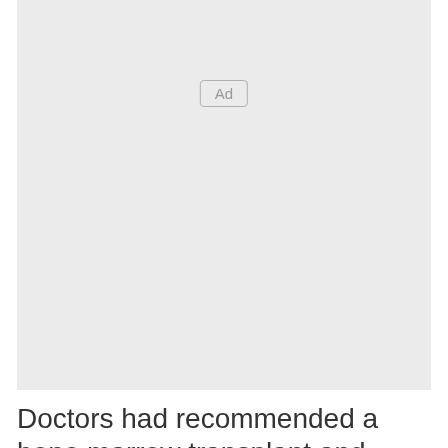[Figure (other): Advertisement placeholder box with 'Ad' label in center]
Doctors had recommended a bone marrow transplant and chemotherapy for Mario, who